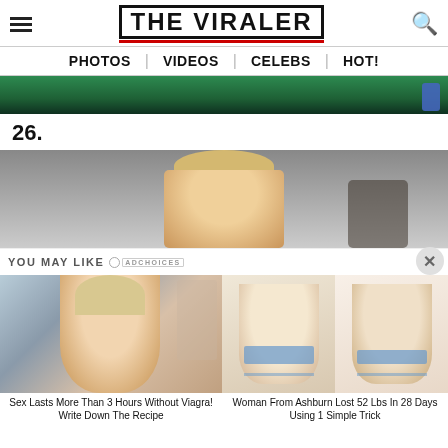THE VIRALER
PHOTOS | VIDEOS | CELEBS | HOT!
[Figure (photo): Partial image at top showing green background with blue object at right]
26.
[Figure (photo): Person with blonde hair peeking in from top, gray/silver background]
YOU MAY LIKE
[Figure (photo): Woman with blonde hair smiling, advertisement image]
Sex Lasts More Than 3 Hours Without Viagra! Write Down The Recipe
[Figure (photo): Two women in white and blue dresses, before and after weight loss]
Woman From Ashburn Lost 52 Lbs In 28 Days Using 1 Simple Trick